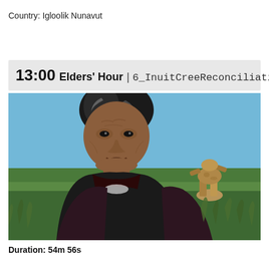Country: Igloolik Nunavut
13:00 Elders' Hour | 6_InuitCreeReconciliation
[Figure (photo): An elderly Indigenous woman speaking outdoors with a blue sky background and an inukshuk stone structure visible behind her to the right, surrounded by tall grass.]
Duration: 54m 56s